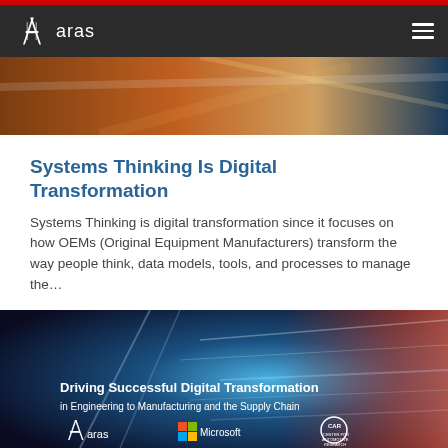aras
[Figure (photo): Hero image showing industrial/manufacturing scene with motion blur effect]
Systems Thinking Is Digital Transformation
Systems Thinking is digital transformation since it focuses on how OEMs (Original Equipment Manufacturers) transform the way people think, data models, tools, and processes to manage the…
[Figure (photo): Promotional banner image: Driving Successful Digital Transformation in Engineering to Manufacturing and the Supply Chain, with Aras, Microsoft, and CAR (Center for Automotive Research) logos on a tunnel with speed light streaks background]